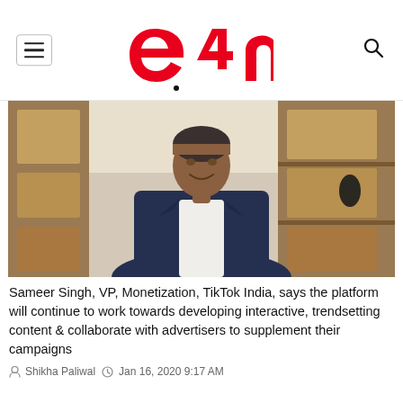e4m
[Figure (photo): Sameer Singh, VP Monetization TikTok India, standing in front of wooden shelving, wearing dark navy blazer and white shirt, smiling]
Sameer Singh, VP, Monetization, TikTok India, says the platform will continue to work towards developing interactive, trendsetting content & collaborate with advertisers to supplement their campaigns
Shikha Paliwal  Jan 16, 2020 9:17 AM